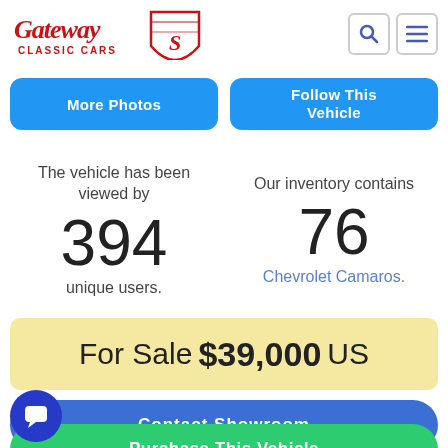[Figure (logo): Gateway Classic Cars logo in red with shield emblem]
More Photos
Follow This Vehicle
The vehicle has been viewed by 394 unique users.
Our inventory contains 76 Chevrolet Camaros.
For Sale $39,000 US
Contact Showroom
Purchase This Vehicle